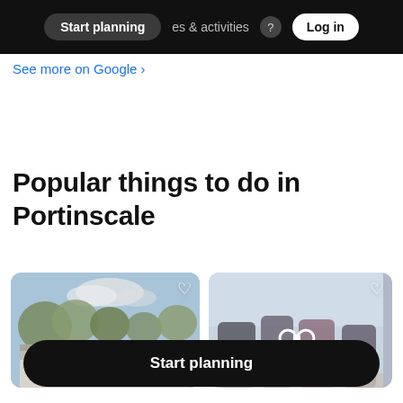Start planning | places & activities | Log in
See more on Google ›
Popular things to do in Portinscale
[Figure (photo): Photo card showing a building with trees and cloudy sky in Portinscale]
[Figure (photo): Blurred photo card showing an outdoor activity scene with binoculars icon overlay]
Start planning